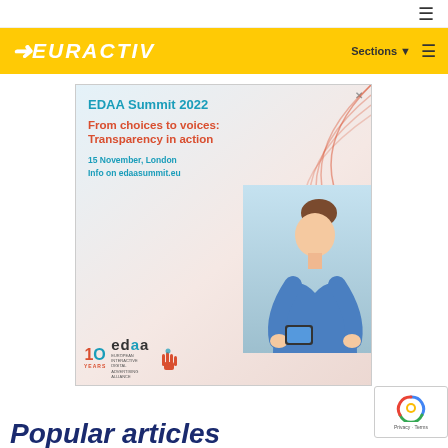≡
[Figure (logo): EURACTIV logo in white italic bold text with arrow, on yellow background header bar with Sections dropdown and hamburger menu]
[Figure (infographic): EDAA Summit 2022 advertisement banner: 'From choices to voices: Transparency in action', 15 November, London, Info on edaasummit.eu, with woman using smartphone, decorative arcs, and EDAA 10 Years logo]
[Figure (screenshot): reCAPTCHA badge with Privacy and Terms text]
Popular articles